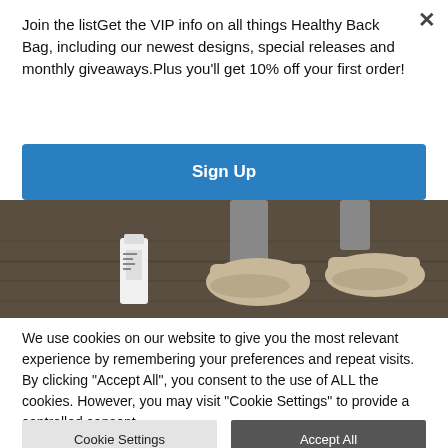Join the listGet the VIP info on all things Healthy Back Bag, including our newest designs, special releases and monthly giveaways.Plus you'll get 10% off your first order!
Sign Up
[Figure (photo): Photo of a person's legs and feet wearing beige sneakers walking on a dark wooden floor, with a white bottle visible on the left side.]
We use cookies on our website to give you the most relevant experience by remembering your preferences and repeat visits. By clicking "Accept All", you consent to the use of ALL the cookies. However, you may visit "Cookie Settings" to provide a controlled consent.
Cookie Settings
Accept All